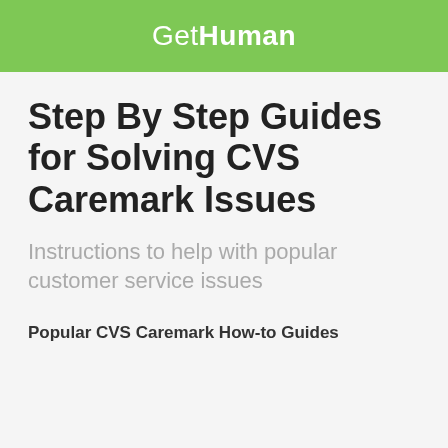GetHuman
Step By Step Guides for Solving CVS Caremark Issues
Instructions to help with popular customer service issues
Popular CVS Caremark How-to Guides